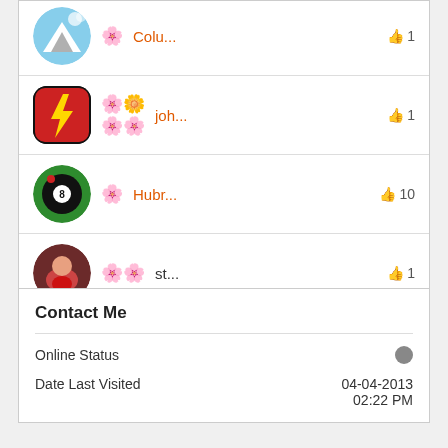Colu... 👍 1
joh... 👍 1
Hubr... 👍 10
st... 👍 1
View All >
Contact Me
|  |  |
| --- | --- |
| Online Status | ● |
| Date Last Visited | 04-04-2013
02:22 PM |